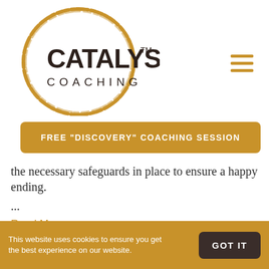[Figure (logo): Catalyst Coaching logo with circular golden brushstroke and bold text CATALYST COACHING with TM mark]
[Figure (other): Hamburger menu icon with three horizontal golden/amber lines]
FREE "DISCOVERY" COACHING SESSION
the necessary safeguards in place to ensure a happy ending.
...
Read More »
This website uses cookies to ensure you get the best experience on our website.
GOT IT